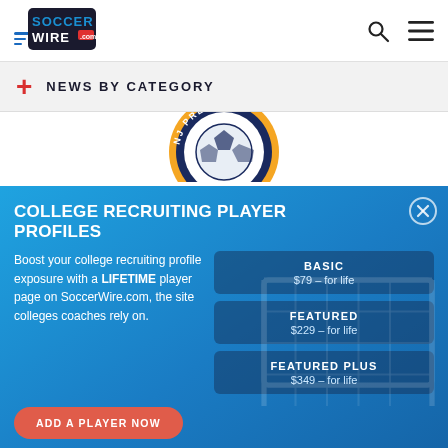[Figure (logo): SoccerWire.com logo — blue and red soccer wire text logo with speed lines]
SoccerWire.com header with search and menu icons
+ NEWS BY CATEGORY
[Figure (logo): NJ Premier soccer club circular badge logo in orange, navy, and white]
COLLEGE RECRUITING PLAYER PROFILES
Boost your college recruiting profile exposure with a LIFETIME player page on SoccerWire.com, the site colleges coaches rely on.
| Tier | Price |
| --- | --- |
| BASIC | $79 – for life |
| FEATURED | $229 – for life |
| FEATURED PLUS | $349 – for life |
ADD A PLAYER NOW